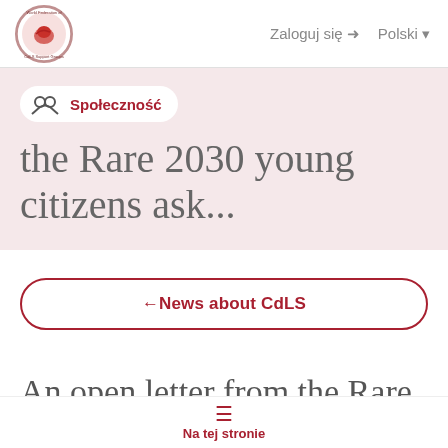Zaloguj się  Polski
[Figure (logo): World Federation of CdLS Support Groups circular logo with bird]
Społeczność
the Rare 2030 young citizens ask...
← News about CdLS
An open letter from the Rare 2030 young citizens...
Na tej stronie